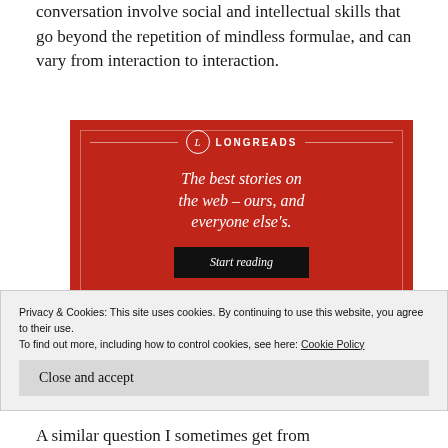conversation involve social and intellectual skills that go beyond the repetition of mindless formulae, and can vary from interaction to interaction.
[Figure (other): Longreads advertisement with red background. Logo at top with 'L' in circle and 'LONGREADS' text. Headline: 'The best stories on the web – ours, and everyone else's.' Button: 'Start reading']
Privacy & Cookies: This site uses cookies. By continuing to use this website, you agree to their use.
To find out more, including how to control cookies, see here: Cookie Policy
A similar question I sometimes get from